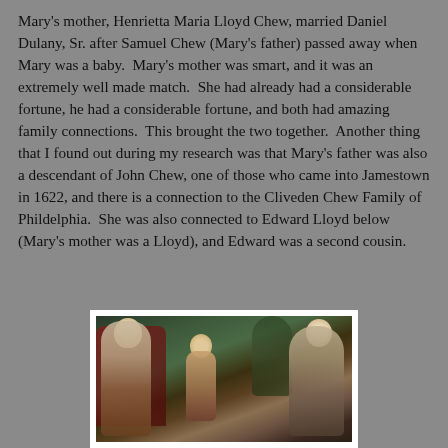Mary's mother, Henrietta Maria Lloyd Chew, married Daniel Dulany, Sr. after Samuel Chew (Mary's father) passed away when Mary was a baby.  Mary's mother was smart, and it was an extremely well made match.  She had already had a considerable fortune, he had a considerable fortune, and both had amazing family connections.  This brought the two together.  Another thing that I found out during my research was that Mary's father was also a descendant of John Chew, one of those who came into Jamestown in 1622, and there is a connection to the Cliveden Chew Family of Phildelphia.  She was also connected to Edward Lloyd below (Mary's mother was a Lloyd), and Edward was a second cousin.
[Figure (photo): A colonial-era portrait painting showing a family group — a man in formal attire seated on a red chair, a child in the middle, and a woman to the right, set against a dark outdoor background with trees.]